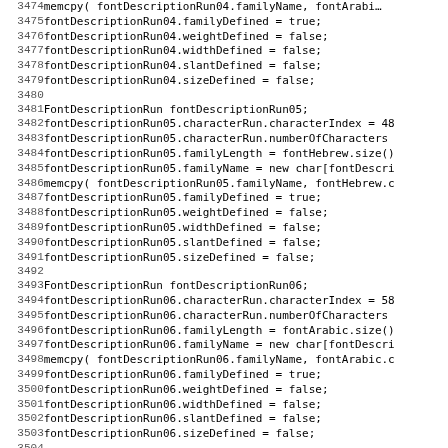Source code listing, lines 3474-3506, showing FontDescriptionRun04, FontDescriptionRun05, FontDescriptionRun06 initialization and Vector<FontDescriptionRun> declaration.